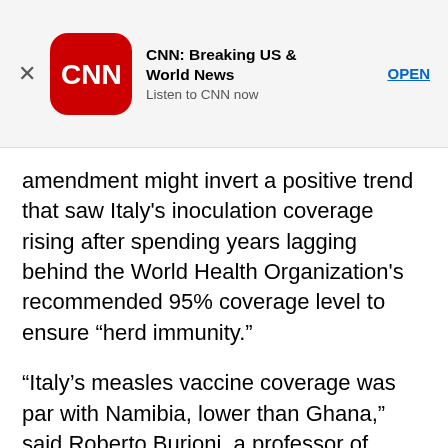[Figure (screenshot): CNN Breaking US & World News app advertisement banner with CNN logo, title, subtitle 'Listen to CNN now', and OPEN button]
amendment might invert a positive trend that saw Italy's inoculation coverage rising after spending years lagging behind the World Health Organization's recommended 95% coverage level to ensure “herd immunity.”
“Italy’s measles vaccine coverage was par with Namibia, lower than Ghana,” said Roberto Burioni, a professor of microbiology and virology at San Raffaele University in Milan. “But the law was working, the coverage was improving. We should strengthen it, not weaken it. Now, children who are not vaccinated will endanger other children at school who are too small for vaccines or cannot be vaccinated because they suffer from